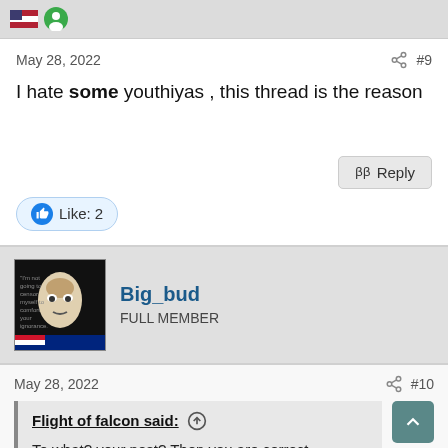May 28, 2022  #9
I hate some youthiyas , this thread is the reason
Like: 2
Big_bud
FULL MEMBER
May 28, 2022  #10
Flight of falcon said: ↑
To what? your post? Then you are correct.

I remember watching the news unfold on my 486 computer and news were slow to come by. Did we not also shot down one of